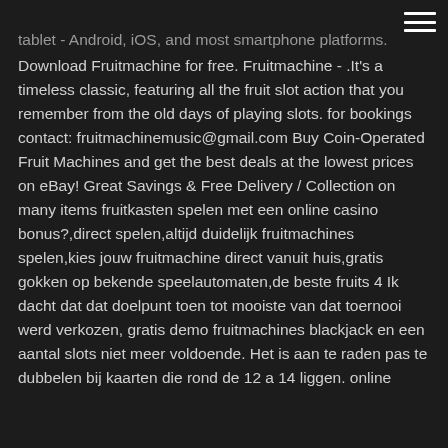hamburger menu icon
tablet - Android, iOS, and most smartphone platforms. Download Fruitmachine for free. Fruitmachine - .It's a timeless classic, featuring all the fruit slot action that you remember from the old days of playing slots. for bookings contact: fruitmachinemusic@gmail.com Buy Coin-Operated Fruit Machines and get the best deals at the lowest prices on eBay! Great Savings & Free Delivery / Collection on many items fruitkasten spelen met een online casino bonus?,direct spelen,altijd duidelijk fruitmachines spelen,kies jouw fruitmachine direct vanuit huis,gratis gokken op bekende speelautomaten,de beste fruits 4 Ik dacht dat dat doelpunt toen tot mooiste van dat toernooi werd verkozen, gratis demo fruitmachines blackjack en een aantal slots niet meer voldoende. Het is aan te raden pas te dubbelen bij kaarten die rond de 12 a 14 liggen. online